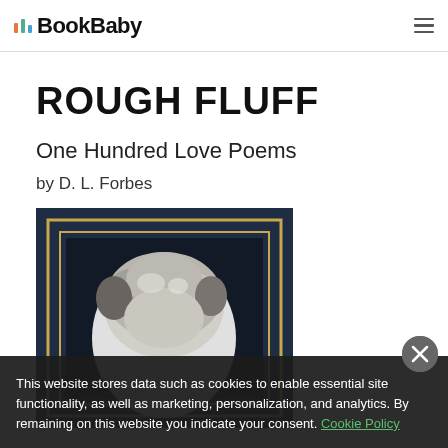BookBaby
ROUGH FLUFF
One Hundred Love Poems
by D. L. Forbes
[Figure (photo): Book cover for 'Rough Fluff: One Hundred Love Poems' showing a black and white photograph of a person's head from above, framed with a gold/yellow border on a dark navy background.]
This website stores data such as cookies to enable essential site functionality, as well as marketing, personalization, and analytics. By remaining on this website you indicate your consent. Cookie Policy